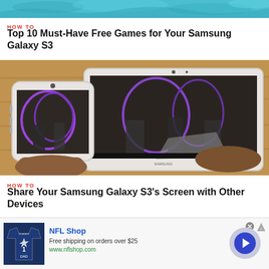[Figure (photo): Top strip showing teal/blue water background image]
HOW TO
Top 10 Must-Have Free Games for Your Samsung Galaxy S3
[Figure (photo): Person holding Samsung Galaxy S3 smartphone in front of a Samsung tablet, both displaying an augmented reality app with 3D purple swirl graphics on a wooden surface background]
HOW TO
Share Your Samsung Galaxy S3's Screen with Other Devices
[Figure (other): Advertisement banner for NFL Shop showing a navy blue Dallas Cowboys jersey with number 1 DAD, NFL Shop name, free shipping offer, website URL www.nflshop.com, and a blue arrow button on a light purple circular background]